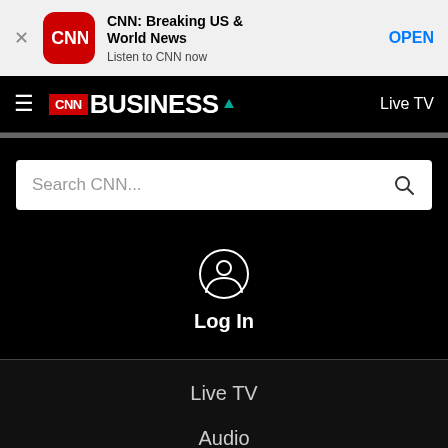[Figure (screenshot): CNN app banner with close button, CNN app icon, title 'CNN: Breaking US & World News', subtitle 'Listen to CNN now', and OPEN button]
CNN BUSINESS
Search CNN...
Log In
Live TV
Audio